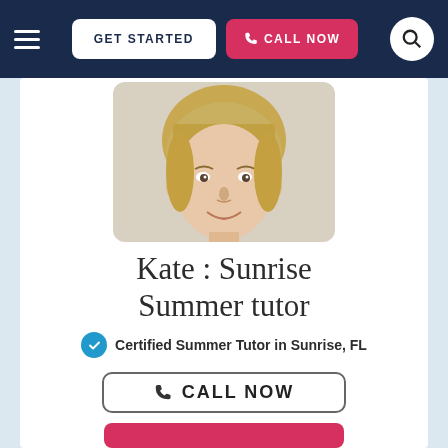GET STARTED | CALL NOW
[Figure (photo): Profile photo of Kate, a blonde woman wearing a navy and white striped top, smiling at the camera against a light background.]
Kate : Sunrise Summer tutor
Certified Summer Tutor in Sunrise, FL
CALL NOW